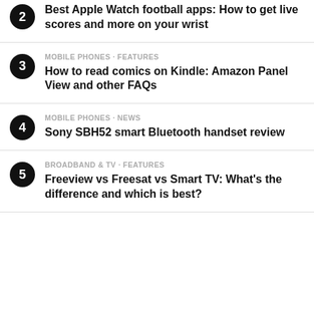Best Apple Watch football apps: How to get live scores and more on your wrist
MOBILE PHONES · FEATURES
How to read comics on Kindle: Amazon Panel View and other FAQs
MOBILE PHONES · NEWS
Sony SBH52 smart Bluetooth handset review
BROADBAND & TV · FEATURES
Freeview vs Freesat vs Smart TV: What's the difference and which is best?